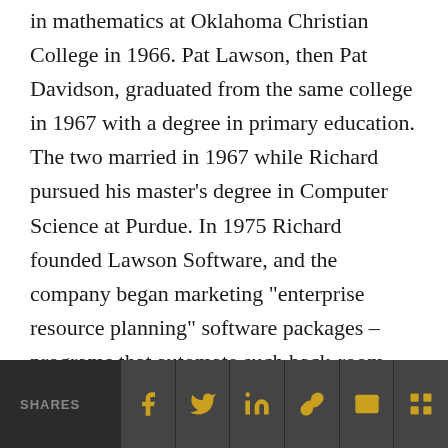in mathematics at Oklahoma Christian College in 1966. Pat Lawson, then Pat Davidson, graduated from the same college in 1967 with a degree in primary education. The two married in 1967 while Richard pursued his master's degree in Computer Science at Purdue. In 1975 Richard founded Lawson Software, and the company began marketing "enterprise resource planning" software packages – programs that automate such back-room operations as billing and materials management – to small and midsize companies. Lawson Software now has more than 2,000 employees and 3,000 client firms, drawn largely from the health care, retail and professional services industries.
SHARES [social share icons: Facebook, Twitter, LinkedIn, Link, Email, Grid]